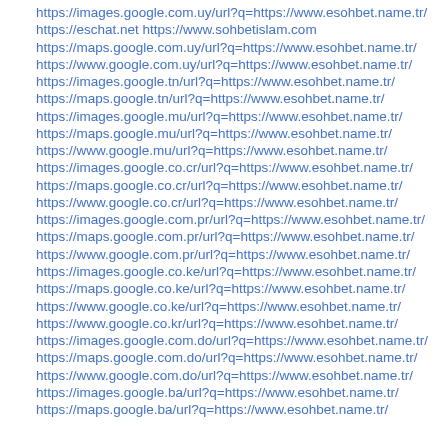https://images.google.com.uy/url?q=https://www.esohbet.name.tr/
https://eschat.net https://www.sohbetislam.com
https://maps.google.com.uy/url?q=https://www.esohbet.name.tr/
https://www.google.com.uy/url?q=https://www.esohbet.name.tr/
https://images.google.tn/url?q=https://www.esohbet.name.tr/
https://maps.google.tn/url?q=https://www.esohbet.name.tr/
https://images.google.mu/url?q=https://www.esohbet.name.tr/
https://maps.google.mu/url?q=https://www.esohbet.name.tr/
https://www.google.mu/url?q=https://www.esohbet.name.tr/
https://images.google.co.cr/url?q=https://www.esohbet.name.tr/
https://maps.google.co.cr/url?q=https://www.esohbet.name.tr/
https://www.google.co.cr/url?q=https://www.esohbet.name.tr/
https://images.google.com.pr/url?q=https://www.esohbet.name.tr/
https://maps.google.com.pr/url?q=https://www.esohbet.name.tr/
https://www.google.com.pr/url?q=https://www.esohbet.name.tr/
https://images.google.co.ke/url?q=https://www.esohbet.name.tr/
https://maps.google.co.ke/url?q=https://www.esohbet.name.tr/
https://www.google.co.ke/url?q=https://www.esohbet.name.tr/
https://www.google.co.kr/url?q=https://www.esohbet.name.tr/
https://images.google.com.do/url?q=https://www.esohbet.name.tr/
https://maps.google.com.do/url?q=https://www.esohbet.name.tr/
https://www.google.com.do/url?q=https://www.esohbet.name.tr/
https://images.google.ba/url?q=https://www.esohbet.name.tr/
https://maps.google.ba/url?q=https://www.esohbet.name.tr/